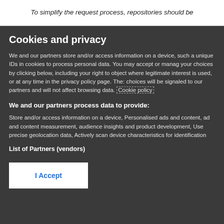To simplify the request process, repositories should be
Cookies and privacy
We and our partners store and/or access information on a device, such as unique IDs in cookies to process personal data. You may accept or manage your choices by clicking below, including your right to object where legitimate interest is used, or at any time in the privacy policy page. These choices will be signaled to our partners and will not affect browsing data. Cookie policy
We and our partners process data to provide:
Store and/or access information on a device, Personalised ads and content, ad and content measurement, audience insights and product development, Use precise geolocation data, Actively scan device characteristics for identification
List of Partners (vendors)
I Accept